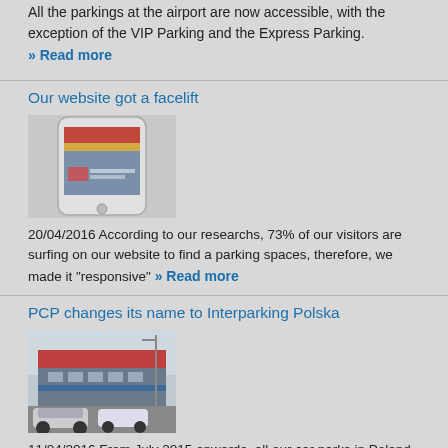All the parkings at the airport are now accessible, with the exception of the VIP Parking and the Express Parking. » Read more
Our website got a facelift
[Figure (photo): Photo of a smartphone showing the website]
20/04/2016 According to our researchs, 73% of our visitors are surfing on our website to find a parking spaces, therefore, we made it "responsive" » Read more
PCP changes its name to Interparking Polska
[Figure (photo): Photo of a parking building with cars]
11/04/2016 From July 2015 onwards, all our car parks in Poland are being brought under the same banner of Interparking.